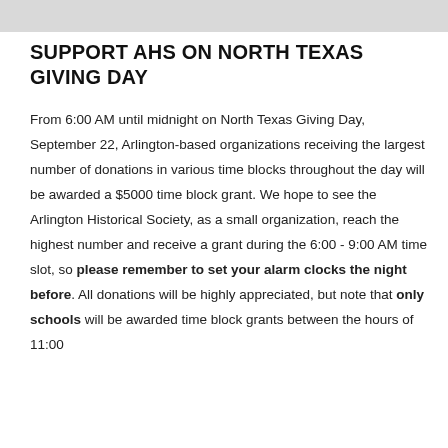SUPPORT AHS ON NORTH TEXAS GIVING DAY
From 6:00 AM until midnight on North Texas Giving Day, September 22, Arlington-based organizations receiving the largest number of donations in various time blocks throughout the day will be awarded a $5000 time block grant. We hope to see the Arlington Historical Society, as a small organization, reach the highest number and receive a grant during the 6:00 - 9:00 AM time slot, so please remember to set your alarm clocks the night before. All donations will be highly appreciated, but note that only schools will be awarded time block grants between the hours of 11:00